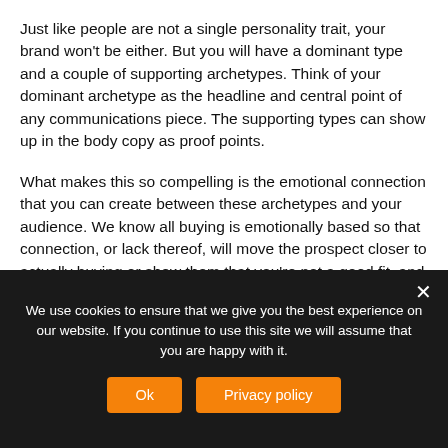Just like people are not a single personality trait, your brand won't be either. But you will have a dominant type and a couple of supporting archetypes. Think of your dominant archetype as the headline and central point of any communications piece. The supporting types can show up in the body copy as proof points.
What makes this so compelling is the emotional connection that you can create between these archetypes and your audience. We know all buying is emotionally based so that connection, or lack thereof, will move the prospect closer to actually buying or show them that you're not a good fit, and they'll move on faster. Either outcome is good for you.
Next time we'll delve into the journey that the hero (your customer) and the sidekick (you) go on together.
We use cookies to ensure that we give you the best experience on our website. If you continue to use this site we will assume that you are happy with it.